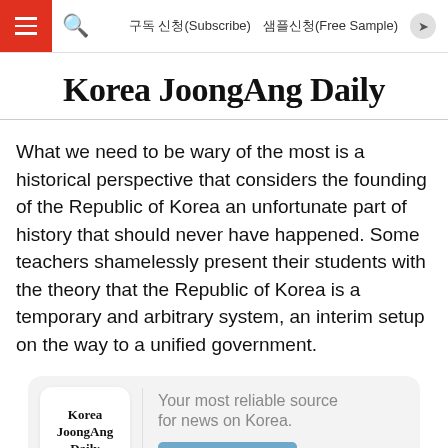구독 신청(Subscribe)  샘플신청(Free Sample)
Korea JoongAng Daily
What we need to be wary of the most is a historical perspective that considers the founding of the Republic of Korea an unfortunate part of history that should never have happened. Some teachers shamelessly present their students with the theory that the Republic of Korea is a temporary and arbitrary system, an interim setup on the way to a unified government.
[Figure (infographic): Korea JoongAng Daily app advertisement banner with logo and 'Download now' button. Tagline: Your most reliable source for news on Korea.]
What we need now is a more aggressive interpretation of history...